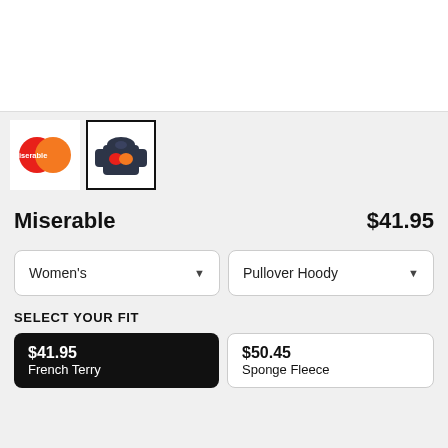[Figure (photo): White product image area at top (cropped/blank)]
[Figure (logo): Miserable brand logo thumbnail - red/orange overlapping circles with 'Miserable' text]
[Figure (photo): Thumbnail of dark navy pullover hoodie with Miserable logo, selected (black border)]
Miserable
$41.95
Women's
Pullover Hoody
SELECT YOUR FIT
$41.95
French Terry
$50.45
Sponge Fleece